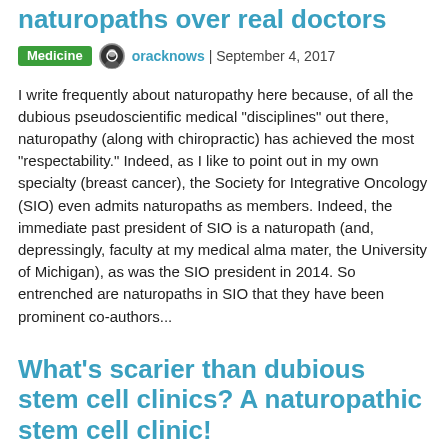naturopaths over real doctors
Medicine  oracknows | September 4, 2017
I write frequently about naturopathy here because, of all the dubious pseudoscientific medical "disciplines" out there, naturopathy (along with chiropractic) has achieved the most "respectability." Indeed, as I like to point out in my own specialty (breast cancer), the Society for Integrative Oncology (SIO) even admits naturopaths as members. Indeed, the immediate past president of SIO is a naturopath (and, depressingly, faculty at my medical alma mater, the University of Michigan), as was the SIO president in 2014. So entrenched are naturopaths in SIO that they have been prominent co-authors...
What's scarier than dubious stem cell clinics? A naturopathic stem cell clinic!
Medicine  oracknows | September 1, 2017
I've frequently written about bogus stem cell clinics that use